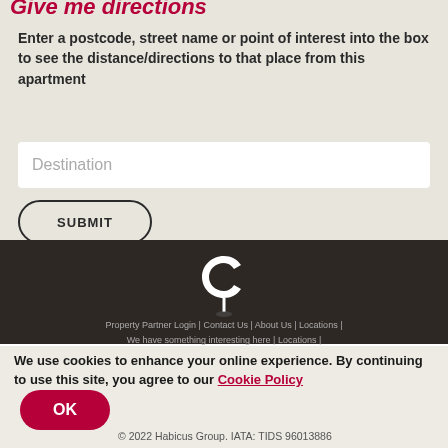Give me directions
Enter a postcode, street name or point of interest into the box to see the distance/directions to that place from this apartment
Destination
SUBMIT
Property Partner Login | Contact Us | About Us | Locations | We have something interesting here | Locations | We have partners here | Terms & Conditions | Privacy Policy | Security | Sitemap
We use cookies to enhance your online experience. By continuing to use this site, you agree to our Cookie Policy
OK
© 2022 Habicus Group. IATA: TIDS 96013886